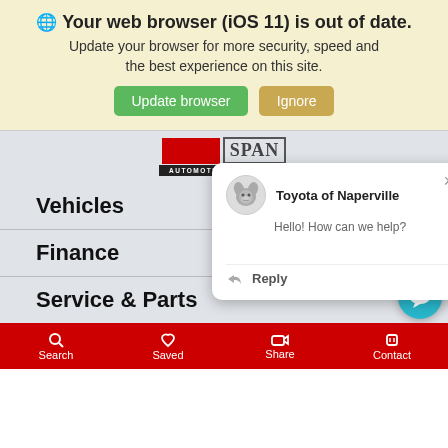[Figure (screenshot): Browser out-of-date warning banner with globe icon, bold title text, subtitle, and two buttons: green 'Update browser' and tan 'Ignore']
[Figure (screenshot): Automotive research website screenshot showing logo area (EPIQ AUTOMOTIVE RESEARCH), navigation items (Vehicles, Finance, Service & Parts), a chat popup from Toyota of Naperville saying 'Hello! How can we help?' with a Reply button, a teal chat bubble button, and a red bottom navigation bar with Search, Saved, Share, Contact items.]